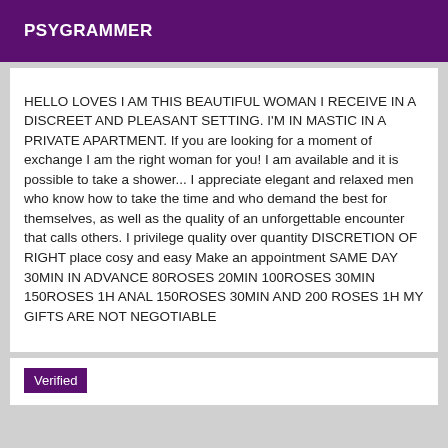PSYGRAMMER
HELLO LOVES I AM THIS BEAUTIFUL WOMAN I RECEIVE IN A DISCREET AND PLEASANT SETTING. I'M IN MASTIC IN A PRIVATE APARTMENT. If you are looking for a moment of exchange I am the right woman for you! I am available and it is possible to take a shower... I appreciate elegant and relaxed men who know how to take the time and who demand the best for themselves, as well as the quality of an unforgettable encounter that calls others. I privilege quality over quantity DISCRETION OF RIGHT place cosy and easy Make an appointment SAME DAY 30MIN IN ADVANCE 80ROSES 20MIN 100ROSES 30MIN 150ROSES 1H ANAL 150ROSES 30MIN AND 200 ROSES 1H MY GIFTS ARE NOT NEGOTIABLE
Verified